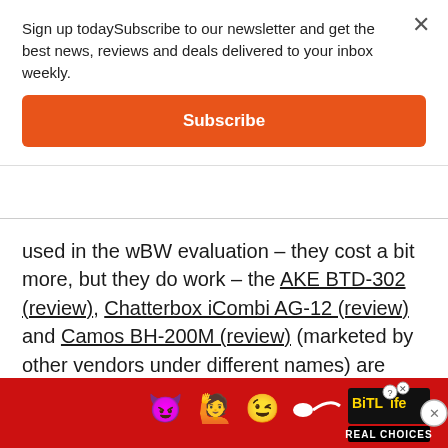Sign up todaySubscribe to our newsletter and get the best news, reviews and deals delivered to your inbox weekly.
Subscribe
used in the wBW evaluation – they cost a bit more, but they do work – the AKE BTD-302 (review), Chatterbox iCombi AG-12 (review) and Camos BH-200M (review) (marketed by other vendors under different names) are rock solid. Checking some related forums might help as well as I know there are other adapters that are being used...
[Figure (other): Advertisement banner for BitLife game: Real Choices, showing emoji characters on red background]